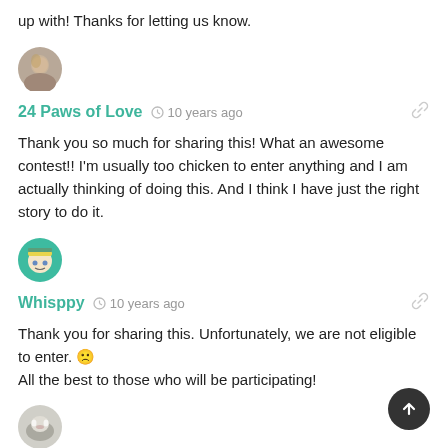up with! Thanks for letting us know.
[Figure (photo): Round avatar photo of a person holding a pet]
24 Paws of Love  10 years ago
Thank you so much for sharing this! What an awesome contest!! I'm usually too chicken to enter anything and I am actually thinking of doing this. And I think I have just the right story to do it.
[Figure (illustration): Round avatar with cartoon face wearing graduation cap on green background]
Whisppy  10 years ago
Thank you for sharing this. Unfortunately, we are not eligible to enter. 🙁
All the best to those who will be participating!
[Figure (photo): Round avatar photo of a cat]